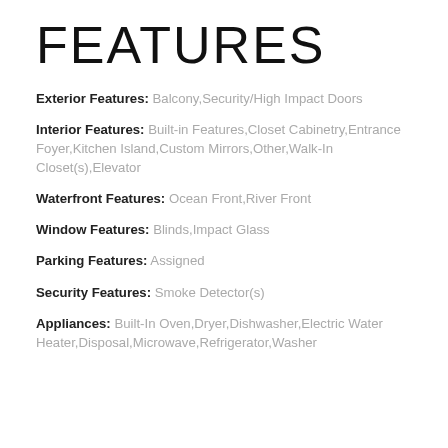FEATURES
Exterior Features: Balcony,Security/High Impact Doors
Interior Features: Built-in Features,Closet Cabinetry,Entrance Foyer,Kitchen Island,Custom Mirrors,Other,Walk-In Closet(s),Elevator
Waterfront Features: Ocean Front,River Front
Window Features: Blinds,Impact Glass
Parking Features: Assigned
Security Features: Smoke Detector(s)
Appliances: Built-In Oven,Dryer,Dishwasher,Electric Water Heater,Disposal,Microwave,Refrigerator,Washer